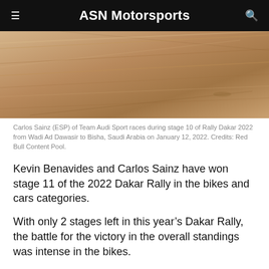ASN Motorsports
[Figure (photo): Sandy desert terrain photo showing textured sand dunes with diagonal lines, partial view cropped from top]
Carlos Sainz (ESP) of Team Audi Sport races during stage 10 of Rally Dakar 2022 from Wadi Ad Dawasir to Bisha, Saudi Arabia on January 12, 2022. Credits: Red Bull Content Pool.
Kevin Benavides and Carlos Sainz have won stage 11 of the 2022 Dakar Rally in the bikes and cars categories.
With only 2 stages left in this year's Dakar Rally, the battle for the victory in the overall standings was intense in the bikes.